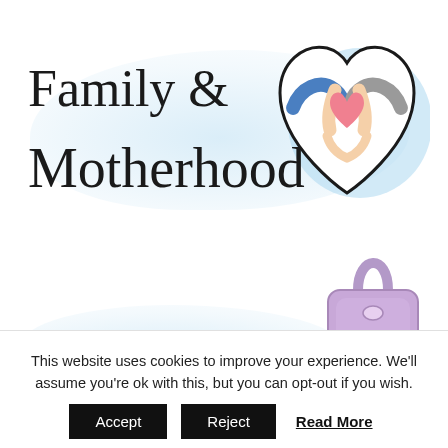[Figure (illustration): Card with cursive text 'Family & Motherhood' on a watercolor blue background with a heart-shaped illustration of two hands forming a heart with a pink heart inside.]
[Figure (illustration): Card with cursive text 'Handbag' on a watercolor blue background with an illustration of a purple/lavender handbag.]
This website uses cookies to improve your experience. We'll assume you're ok with this, but you can opt-out if you wish.
Accept | Reject | Read More